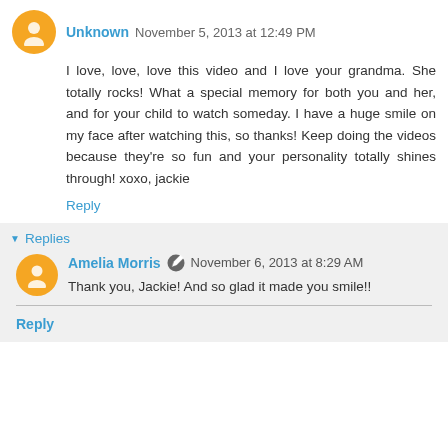Unknown  November 5, 2013 at 12:49 PM
I love, love, love this video and I love your grandma. She totally rocks! What a special memory for both you and her, and for your child to watch someday. I have a huge smile on my face after watching this, so thanks! Keep doing the videos because they're so fun and your personality totally shines through! xoxo, jackie
Reply
Replies
Amelia Morris  November 6, 2013 at 8:29 AM
Thank you, Jackie! And so glad it made you smile!!
Reply